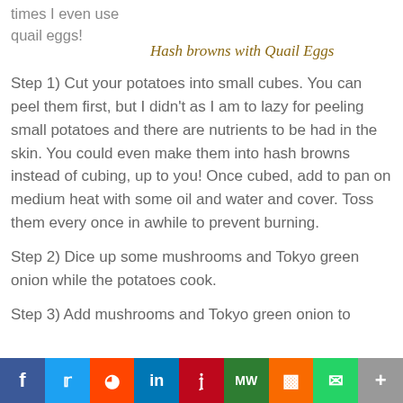times I even use quail eggs!
Hash browns with Quail Eggs
Step 1) Cut your potatoes into small cubes. You can peel them first, but I didn't as I am to lazy for peeling small potatoes and there are nutrients to be had in the skin. You could even make them into hash browns instead of cubing, up to you! Once cubed, add to pan on medium heat with some oil and water and cover. Toss them every once in awhile to prevent burning.
Step 2) Dice up some mushrooms and Tokyo green onion while the potatoes cook.
Step 3) Add mushrooms and Tokyo green onion to